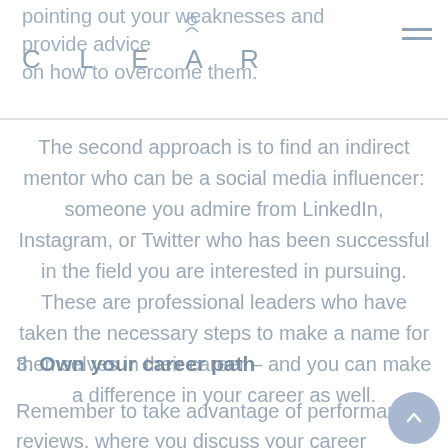pointing out your weaknesses and provide advice on how to overcome them. CLEAR
The second approach is to find an indirect mentor who can be a social media influencer: someone you admire from LinkedIn, Instagram, or Twitter who has been successful in the field you are interested in pursuing. These are professional leaders who have taken the necessary steps to make a name for themselves in their career – and you can make a difference in your career as well.
3. Own your career path
Remember to take advantage of performance reviews, where you discuss your career